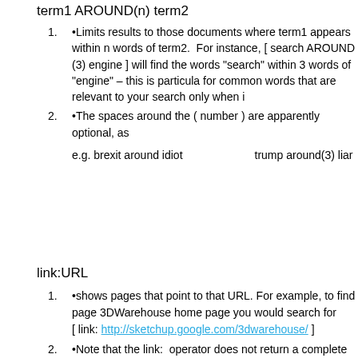term1 AROUND(n) term2
•Limits results to those documents where term1 appears within n words of term2.  For instance, [ search AROUND (3) engine ] will find the words "search" within 3 words of "engine" – this is particularly useful for common words that are relevant to your search only when it
•The spaces around the ( number ) are apparently optional, as
e.g. brexit around idiot          trump around(3) liar
link:URL
•shows pages that point to that URL. For example, to find pages linking to the 3DWarehouse home page you would search for [ link: http://sketchup.google.com/3dwarehouse/ ]
•Note that the link:  operator does not return a complete list of all links, it simply returns a representative sample.